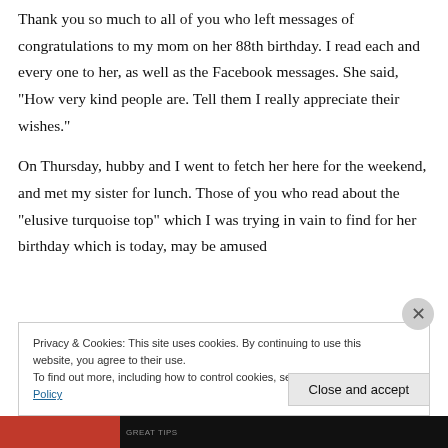Thank you so much to all of you who left messages of congratulations to my mom on her 88th birthday. I read each and every one to her, as well as the Facebook messages. She said, “How very kind people are. Tell them I really appreciate their wishes.”
On Thursday, hubby and I went to fetch her here for the weekend, and met my sister for lunch. Those of you who read about the “elusive turquoise top” which I was trying in vain to find for her birthday which is today, may be amused
Privacy & Cookies: This site uses cookies. By continuing to use this website, you agree to their use.
To find out more, including how to control cookies, see here: Cookie Policy
Close and accept